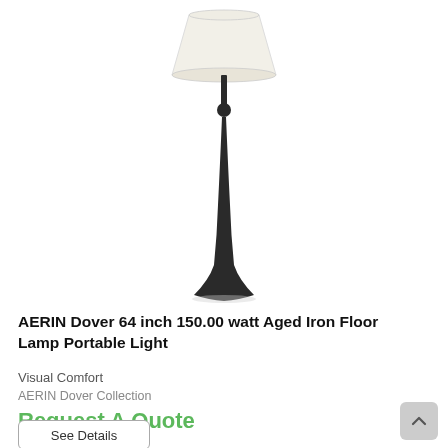[Figure (photo): A tall floor lamp with a dark aged iron curved base that flares at the bottom (trumpet shape), a small decorative ball joint near the top of the pole, and a wide off-white/cream drum lampshade at the top. The lamp is shown on a white background.]
AERIN Dover 64 inch 150.00 watt Aged Iron Floor Lamp Portable Light
Visual Comfort
AERIN Dover Collection
Request A Quote
See Details